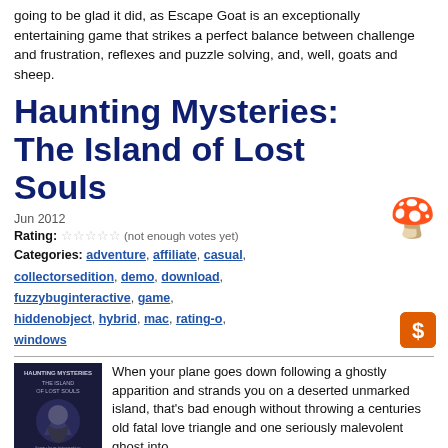going to be glad it did, as Escape Goat is an exceptionally entertaining game that strikes a perfect balance between challenge and frustration, reflexes and puzzle solving, and, well, goats and sheep.
Haunting Mysteries: The Island of Lost Souls
Jun 2012
Rating: ☆☆☆☆☆ (not enough votes yet)
Categories: adventure, affiliate, casual, collectorsedition, demo, download, fuzzybuginteractive, game, hiddenobject, hybrid, mac, rating-o, windows
When your plane goes down following a ghostly apparition and strands you on a deserted unmarked island, that's bad enough without throwing a centuries old fatal love triangle and one seriously malevolent ghost into the mix. Fuzzy Bug Interactive delivers a short